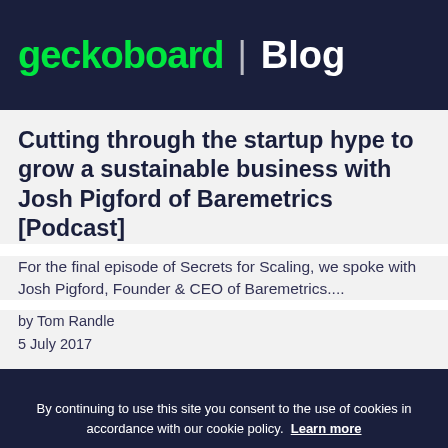geckoboard | Blog
Cutting through the startup hype to grow a sustainable business with Josh Pigford of Baremetrics [Podcast]
For the final episode of Secrets for Scaling, we spoke with Josh Pigford, Founder & CEO of Baremetrics....
by Tom Randle
5 July 2017
By continuing to use this site you consent to the use of cookies in accordance with our cookie policy. Learn more
Got it